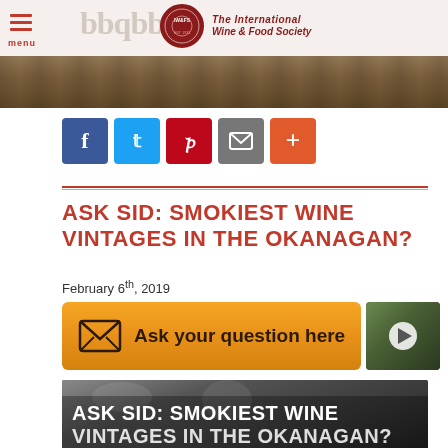The International Wine & Food Society
[Figure (screenshot): Top image strip of wine/food background photo]
[Figure (infographic): Social sharing buttons: Facebook, Twitter, Pinterest, Email, More]
ASK SID: SMOKIEST WINE VINTAGES IN THE OKANAGAN?
February 6th, 2019
[Figure (infographic): Orange CTA button 'Ask your question here' with envelope icon and video thumbnail]
[Figure (photo): Bottom image: ASK SID: SMOKIEST WINE VINTAGES IN THE OKANAGAN? title over smoky wine background]